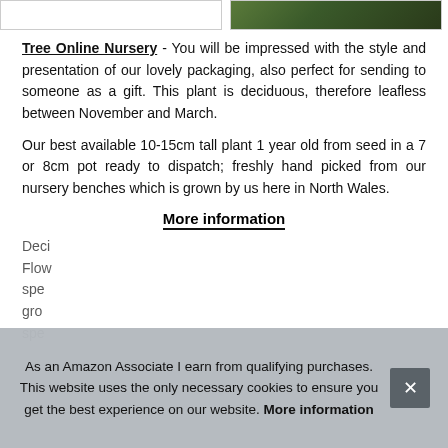[Figure (photo): Two image boxes at top of page — left is empty white bordered box, right shows a dark green plant/foliage photo]
Tree Online Nursery - You will be impressed with the style and presentation of our lovely packaging, also perfect for sending to someone as a gift. This plant is deciduous, therefore leafless between November and March.
Our best available 10-15cm tall plant 1 year old from seed in a 7 or 8cm pot ready to dispatch; freshly hand picked from our nursery benches which is grown by us here in North Wales.
More information
Deci... Flow... spe... gro... spe...
As an Amazon Associate I earn from qualifying purchases. This website uses the only necessary cookies to ensure you get the best experience on our website. More information